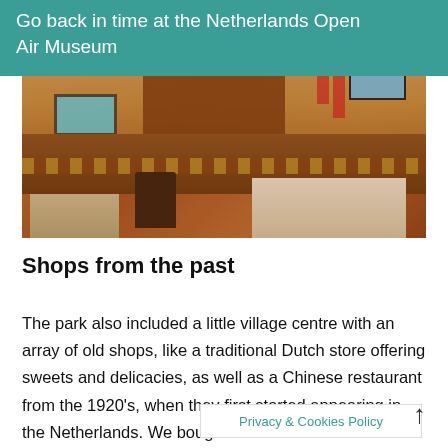Go back in time at the Netherlands Open Air Museum
[Figure (photo): Interior of a 1920s Chinese restaurant showing a wooden bar/counter with decorative Greek-key pattern trim, shelving with ornaments, a television screen, red candles, tables with white tablecloths, and chairs in warm amber lighting.]
Shops from the past
The park also included a little village centre with an array of old shops, like a traditional Dutch store offering sweets and delicacies, as well as a Chinese restaurant from the 1920's, when they first started appearing in the Netherlands. We bough... the
Privacy & Cookies Policy